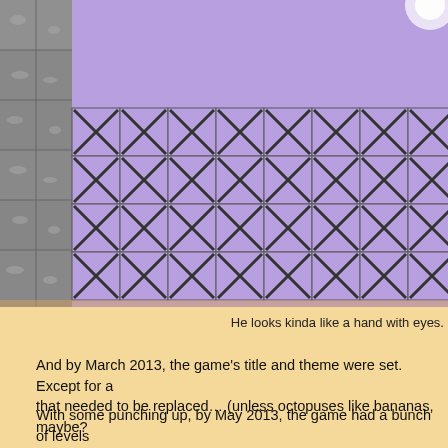[Figure (screenshot): Game screenshot showing pixel art tiles: gray stone blocks on left, purple background with X-pattern tiles in the middle, and orange/brown textured tiles on the right with X overlays. Purple sky at top.]
He looks kinda like a hand with eyes.
And by March 2013, the game's title and theme were set.  Except for a... that needed to be replaced... (unless octopuses like bananas, maybe?
With some punching up, by May 2013, the game had a bunch of levels... playtested left and right.
[Figure (screenshot): Game UI screenshot showing level select screen with '+shift' red button, gray square, three star rating icons, and text '6. Where to, Boss?' on yellow textured background. Below shows a level preview with a character and text 'The arrows point in the direction the Electric Field would push you']